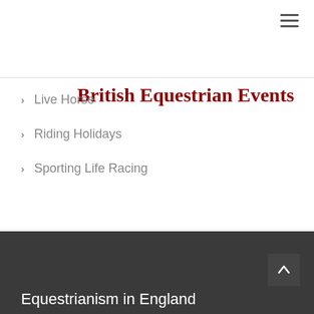British Equestrian Events
Live Horse
Riding Holidays
Sporting Life Racing
Equestrianism in England